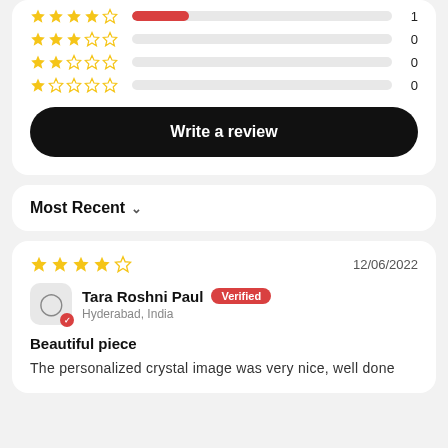[Figure (infographic): Star rating bars showing 4-star=1, 3-star=0, 2-star=0, 1-star=0]
Write a review
Most Recent
[Figure (infographic): 4 out of 5 stars rating for review dated 12/06/2022]
12/06/2022
Tara Roshni Paul Verified Hyderabad, India
Beautiful piece
The personalized crystal image was very nice, well done